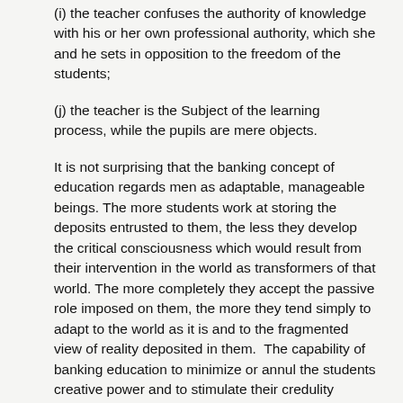(i) the teacher confuses the authority of knowledge with his or her own professional authority, which she and he sets in opposition to the freedom of the students;
(j) the teacher is the Subject of the learning process, while the pupils are mere objects.
It is not surprising that the banking concept of education regards men as adaptable, manageable beings. The more students work at storing the deposits entrusted to them, the less they develop the critical consciousness which would result from their intervention in the world as transformers of that world. The more completely they accept the passive role imposed on them, the more they tend simply to adapt to the world as it is and to the fragmented view of reality deposited in them. The capability of banking education to minimize or annul the students creative power and to stimulate their credulity serves the interests of the oppressors, who care neither to have the world revealed nor to see it transformed. The oppressors use their